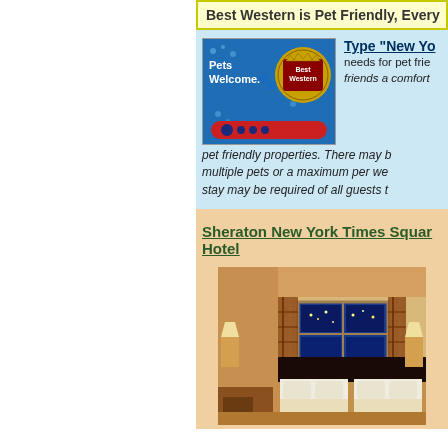Best Western is Pet Friendly, Every...
[Figure (logo): Best Western 'Pets Welcome' logo with blue background, paw prints, red bone graphic]
Type "New Yo...
needs for pet frie... friends a comfort... pet friendly properties. There may be... multiple pets or a maximum per we... stay may be required of all guests t...
Sheraton New York Times Square Hotel
[Figure (photo): Hotel room interior with two beds, plaid curtains, window with city view at night, warm lighting]